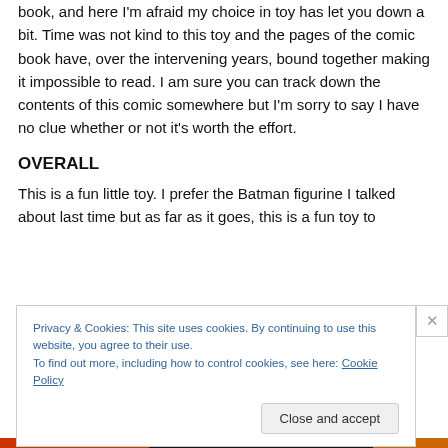book, and here I'm afraid my choice in toy has let you down a bit. Time was not kind to this toy and the pages of the comic book have, over the intervening years, bound together making it impossible to read. I am sure you can track down the contents of this comic somewhere but I'm sorry to say I have no clue whether or not it's worth the effort.
OVERALL
This is a fun little toy. I prefer the Batman figurine I talked about last time but as far as it goes, this is a fun toy to
Privacy & Cookies: This site uses cookies. By continuing to use this website, you agree to their use.
To find out more, including how to control cookies, see here: Cookie Policy
Close and accept